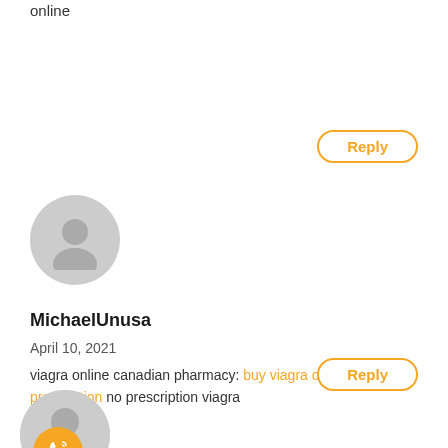online
[Figure (illustration): Reply button with orange border, top]
[Figure (illustration): Gray circular avatar with person silhouette]
MichaelUnusa
April 10, 2021
viagra online canadian pharmacy: buy viagra online without prescription no prescription viagra
[Figure (illustration): Reply button with orange border, bottom]
[Figure (illustration): Gray circular avatar with orange phone icon]